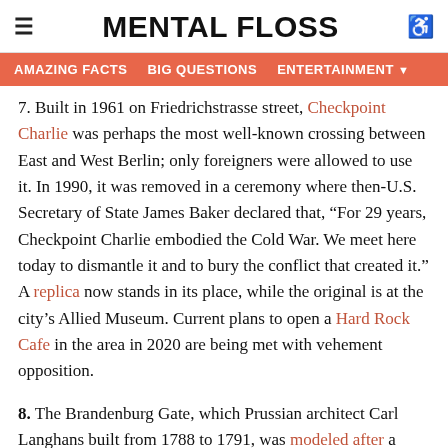MENTAL FLOSS
AMAZING FACTS   BIG QUESTIONS   ENTERTAINMENT
7. Built in 1961 on Friedrichstrasse street, Checkpoint Charlie was perhaps the most well-known crossing between East and West Berlin; only foreigners were allowed to use it. In 1990, it was removed in a ceremony where then-U.S. Secretary of State James Baker declared that, “For 29 years, Checkpoint Charlie embodied the Cold War. We meet here today to dismantle it and to bury the conflict that created it.” A replica now stands in its place, while the original is at the city’s Allied Museum. Current plans to open a Hard Rock Cafe in the area in 2020 are being met with vehement opposition.
8. The Brandenburg Gate, which Prussian architect Carl Langhans built from 1788 to 1791, was modeled after a Greek propylaea. Set on a dozen Doric columns, the structure measures 66 feet high, 213 feet wide, and 36 feet deep. The two small buildings on the side were built in the 1990s, replacing